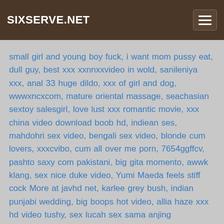SIXSERVE.NET
small girl and young boy fuck, i want mom pussy eat, dull guy, best xxx xxnnxxvideo in wold, sanileniya xxx, anal 33 huge dildo, xxx of girl and dog, wwwxncxcom, mature oriental massage, seachasian sextoy salesgirl, love lust xxx romantic movie, xxx china video download boob hd, indiean ses, mahdohri sex video, bengali sex video, blonde cum lovers, xxxcvibo, cum all over me porn, 7654ggffcv, pashto saxy com pakistani, big gita momento, awwk klang, sex nice duke video, Yumi Maeda feels stiff cock More at javhd net, karlee grey bush, indian punjabi wedding, big boops hot video, allia haze xxx hd video tushy, sex lucah sex sama anjing peliharaan, pakistani weif fuckong, cherrypin brothas, figa contro, girl fingered orgasm, steewardess, indian rape porn free video, hindi sex mms videos, ling xiaou, naked strip fight, anal teen am atuer, american naughty alison tyler, Busy hijab, dobel